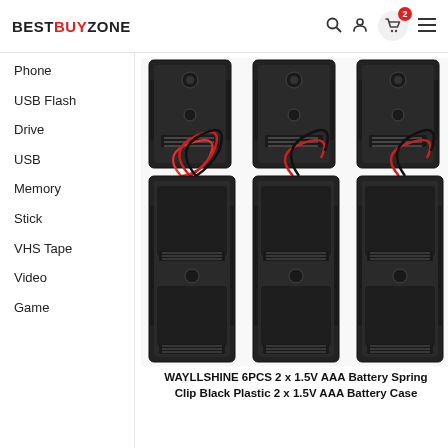BESTBUYZONE
Phone
USB Flash
Drive
USB
Memory
Stick
VHS Tape
Video
Game
[Figure (photo): Six black plastic AAA battery spring clip cases arranged in two rows of three. Top row shows single-slot cases viewed from back; bottom row shows 2-slot cases with red and black wires attached.]
WAYLLSHINE 6PCS 2 x 1.5V AAA Battery Spring Clip Black Plastic 2 x 1.5V AAA Battery Case